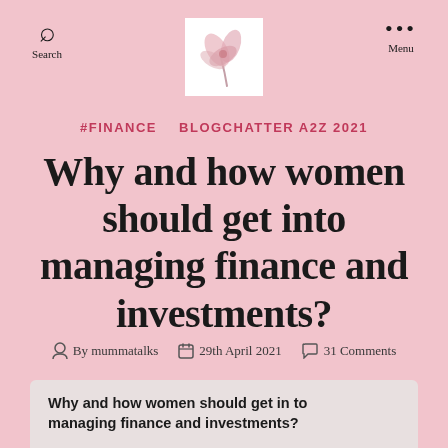Search  [logo]  Menu
[Figure (logo): Pink flower watercolor logo on white background]
#FINANCE  BLOGCHATTER A2Z 2021
Why and how women should get into managing finance and investments?
By mummatalks  29th April 2021  31 Comments
Why and how women should get in to managing finance and investments?